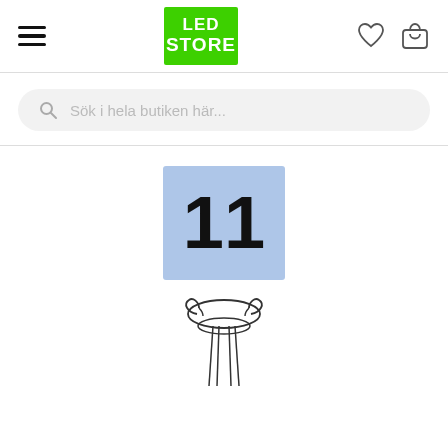[Figure (logo): LED Store green logo with white text]
Sök i hela butiken här...
[Figure (other): Blue badge with number 11 and a line-art illustration of an LED lamp component below it]